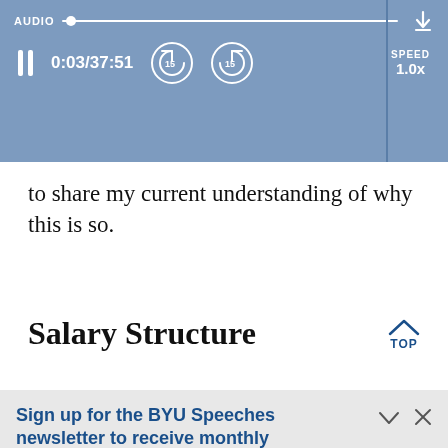[Figure (screenshot): Audio player bar with pause button, time display 0:03/37:51, rewind 15s, forward 15s, speed 1.0x, and download icon on a steel-blue background]
to share my current understanding of why this is so.
Salary Structure
Sign up for the BYU Speeches newsletter to receive monthly inspiration.
A little hope in your inbox.
Enter your email
SUBSCRIBE